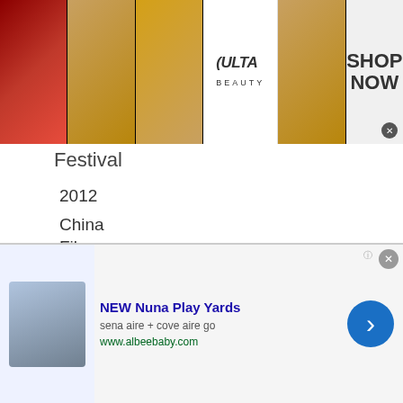[Figure (infographic): Ulta Beauty advertisement banner showing makeup images, Ulta Beauty logo, and SHOP NOW text]
Festival
| Year | Organization | Award | Nominee | Result |
| --- | --- | --- | --- | --- |
| 2012 | China Film Director's Guild Awards | Best Film | – | Nominated |
|  |  | Best Director | Gu Changwei | Nominated |
[Figure (infographic): Advertisement for NEW Nuna Play Yards - sena aire + cove aire go - www.albeebaby.com with navigation arrow]